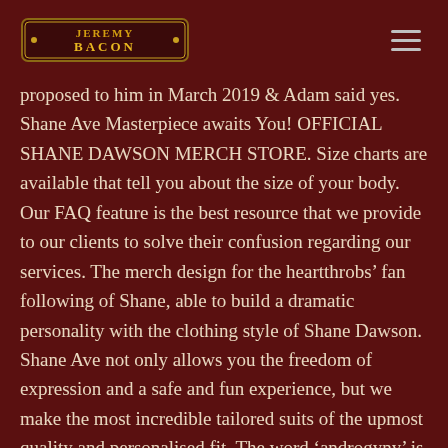Jeremy Bacon [logo] | hamburger menu
proposed to him in March 2019 & Adam said yes. Shane Ave Masterpiece awaits You! OFFICIAL SHANE DAWSON MERCH STORE. Size charts are available that tell you about the size of your body. Our FAQ feature is the best resource that we provide to our clients to solve their confusion regarding our services. The merch design for the heartthrobs' fan following of Shane, able to build a dramatic personality with the clothing style of Shane Dawson. Shane Ave not only allows you the freedom of expression and a safe and fun experience, but we make the most incredible tailored suits of the upmost quality and personalised fit. The word 'androgyny' is a dual term: it comes from the Greek word 'andro,' which means man, and 'gyno,' which means